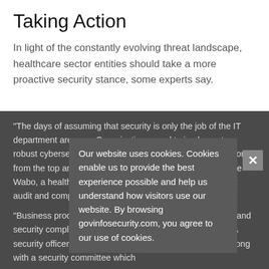Taking Action
In light of the constantly evolving threat landscape, healthcare sector entities should take a more proactive security stance, some experts say.
"The days of assuming that security is only the job of the IT department are over. Organizations need to implement a robust cybersecurity program that begins with setting the tone from the top and adopting a culture of security," says Blaise Wabo, a health and financial services knowledge leader at audit and compliance services firm A-LIGN.
"Business processes need to be defined with governance and security compliance in mind for every single department. A security officer and privacy officer need to be appointed along with a security committee which
Our website uses cookies. Cookies enable us to provide the best experience possible and help us understand how visitors use our website. By browsing govinfosecurity.com, you agree to our use of cookies.